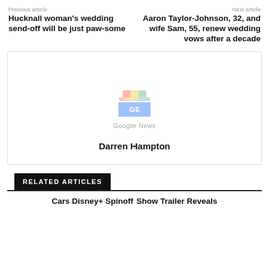Previous article
Hucknall woman's wedding send-off will be just paw-some
Next article
Aaron Taylor-Johnson, 32, and wife Sam, 55, renew wedding vows after a decade
[Figure (logo): Google News logo with colorful hat icon and 'Google News' text]
Darren Hampton
RELATED ARTICLES
Cars Disney+ Spinoff Show Trailer Reveals